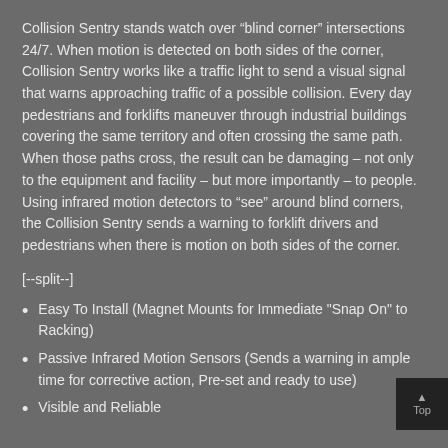Collision Sentry stands watch over “blind corner” intersections 24/7. When motion is detected on both sides of the corner, Collision Sentry works like a traffic light to send a visual signal that warns approaching traffic of a possible collision. Every day pedestrians and forklifts maneuver through industrial buildings covering the same territory and often crossing the same path. When those paths cross, the result can be damaging – not only to the equipment and facility – but more importantly – to people. Using infrared motion detectors to “see” around blind corners, the Collision Sentry sends a warning to forklift drivers and pedestrians when there is motion on both sides of the corner.
[--split--]
Easy To Install (Magnet Mounts for Immediate "Snap On" to Racking)
Passive Infrared Motion Sensors (Sends a warning in ample time for corrective action, Pre-set and ready to use)
Visible and Reliable